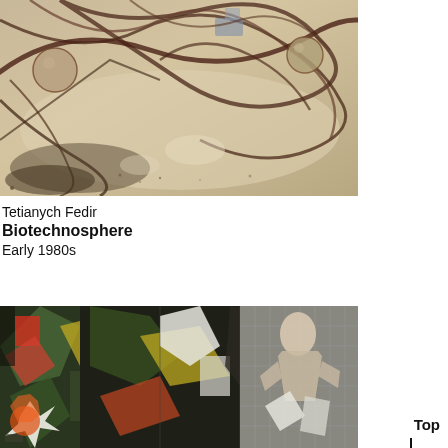[Figure (illustration): Abstract painting with swirling brown/dark lines and organic shapes on a beige/tan background, reminiscent of biological or cosmic forms — Biotechnosphere by Tetianych Fedir, Early 1980s]
Tetianych Fedir
Biotechnosphere
Early 1980s
[Figure (illustration): Colorful cubist/expressionist painting with fragmented figures, geometric shapes in greens, reds, yellows, whites and blacks — abstract figurative composition]
Top